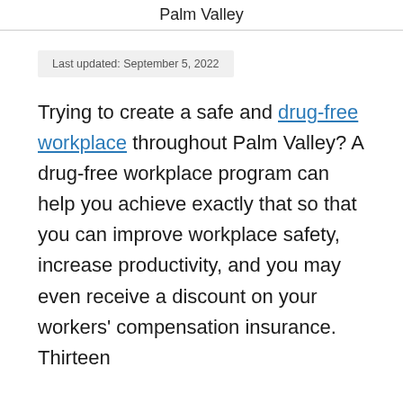Palm Valley
Last updated: September 5, 2022
Trying to create a safe and drug-free workplace throughout Palm Valley? A drug-free workplace program can help you achieve exactly that so that you can improve workplace safety, increase productivity, and you may even receive a discount on your workers' compensation insurance. Thirteen